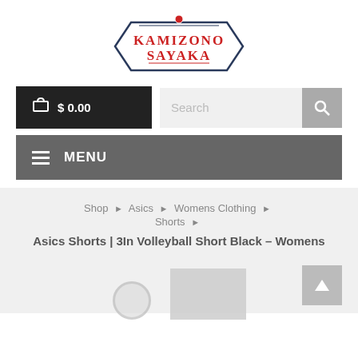[Figure (logo): Kamizono Sayaka brand logo — hexagonal tag shape with dark navy border, red dot on top, 'KAMIZONO SAYAKA' text in red serif/stencil font with underline decoration]
[Figure (infographic): Shopping cart button (black background, white cart icon, '$0.00' text) and Search bar (light grey input field with placeholder 'Search', grey search button with magnifier icon)]
[Figure (infographic): Dark grey navigation menu bar with hamburger icon and 'MENU' text in white bold]
Shop ▶ Asics ▶ Womens Clothing ▶ Shorts ▶
Asics Shorts | 3In Volleyball Short Black – Womens
[Figure (photo): Partial product image of black volleyball shorts and a magnifier circle icon at bottom of page]